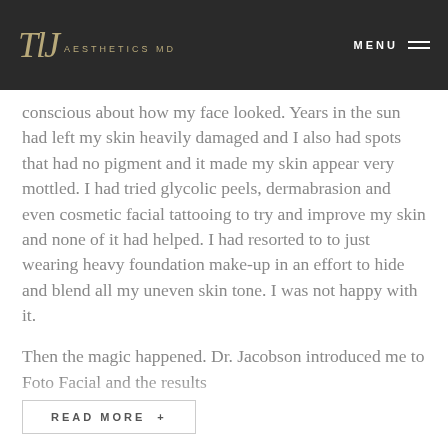TLJ Aesthetics MD | MENU
conscious about how my face looked.  Years in the sun had left my skin heavily damaged and I also had spots that had no pigment and it made my skin appear very mottled.  I had tried glycolic peels, dermabrasion and even cosmetic facial tattooing to try and improve my skin and none of it had helped.  I had resorted to to just wearing heavy foundation make-up in an effort to hide and blend all my uneven skin tone.  I was not happy with it.
Then the magic happened. Dr. Jacobson introduced me to Foto Facial and the results
READ MORE +